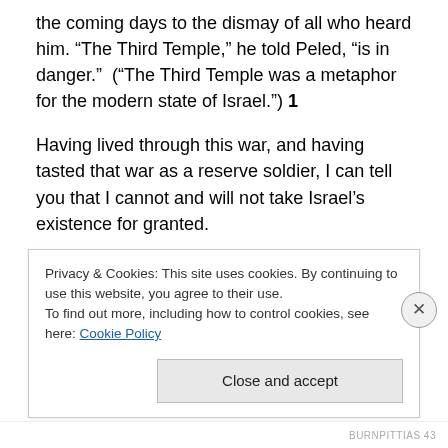the coming days to the dismay of all who heard him. “The Third Temple,” he told Peled, “is in danger.”  (“The Third Temple was a metaphor for the modern state of Israel.”) 1
Having lived through this war, and having tasted that war as a reserve soldier, I can tell you that I cannot and will not take Israel’s existence for granted.
“To envision a failure of the air force on top of a failure of the intelligence services would be pushing imagination to the point of perversity. Even more difficult to imagine was
Privacy & Cookies: This site uses cookies. By continuing to use this website, you agree to their use.
To find out more, including how to control cookies, see here: Cookie Policy